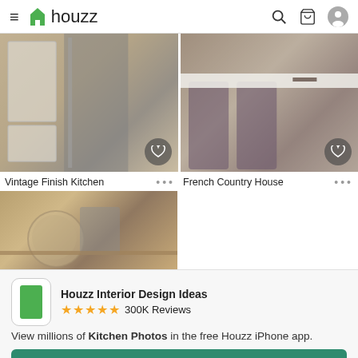houzz
[Figure (photo): Vintage Finish Kitchen photo showing white cabinets and stainless steel refrigerator]
[Figure (photo): French Country House kitchen photo showing bar stools at island]
Vintage Finish Kitchen
French Country House
[Figure (photo): Kitchen countertop with glass jar and appliances]
Houzz Interior Design Ideas ★★★★★ 300K Reviews
View millions of Kitchen Photos in the free Houzz iPhone app.
Continue
Go to Mobile Site